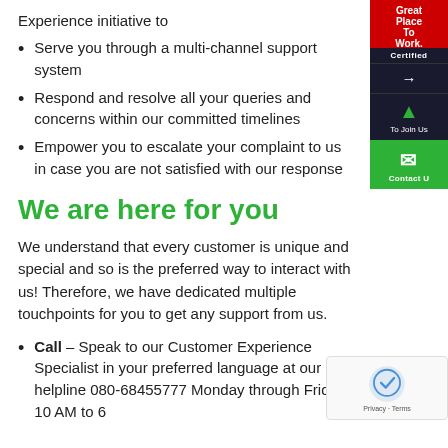Experience initiative to
Serve you through a multi-channel support system
Respond and resolve all your queries and concerns within our committed timelines
Empower you to escalate your complaint to us in case you are not satisfied with our response
We are here for you
We understand that every customer is unique and special and so is the preferred way to interact with us! Therefore, we have dedicated multiple touchpoints for you to get any support from us.
Call – Speak to our Customer Experience Specialist in your preferred language at our helpline 080-68455777 Monday through Friday 10 AM to 6...